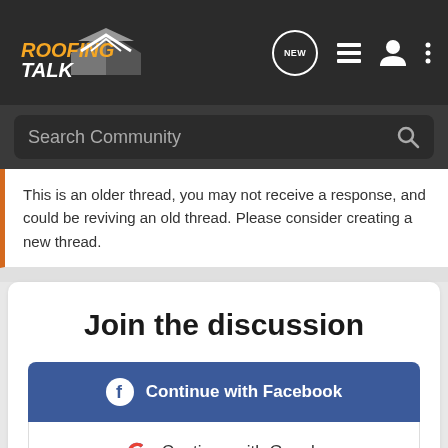RoofingTalk
Search Community
This is an older thread, you may not receive a response, and could be reviving an old thread. Please consider creating a new thread.
Join the discussion
Continue with Facebook
Continue with Google
or sign up with email